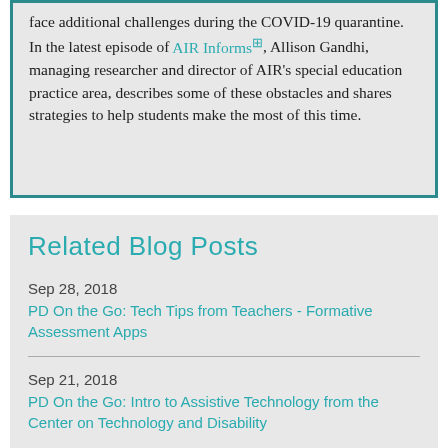face additional challenges during the COVID-19 quarantine. In the latest episode of AIR Informs, Allison Gandhi, managing researcher and director of AIR's special education practice area, describes some of these obstacles and shares strategies to help students make the most of this time.
Related Blog Posts
Sep 28, 2018
PD On the Go: Tech Tips from Teachers - Formative Assessment Apps
Sep 21, 2018
PD On the Go: Intro to Assistive Technology from the Center on Technology and Disability